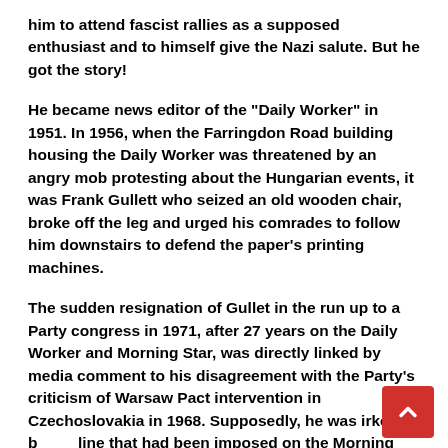him to attend fascist rallies as a supposed enthusiast and to himself give the Nazi salute. But he got the story!
He became news editor of the "Daily Worker" in 1951. In 1956, when the Farringdon Road building housing the Daily Worker was threatened by an angry mob protesting about the Hungarian events, it was Frank Gullett who seized an old wooden chair, broke off the leg and urged his comrades to follow him downstairs to defend the paper's printing machines.
The sudden resignation of Gullet in the run up to a Party congress in 1971, after 27 years on the Daily Worker and Morning Star, was directly linked by media comment to his disagreement with the Party's criticism of Warsaw Pact intervention in Czechoslovakia in 1968. Supposedly, he was irked by the line that had been imposed on the Morning Star over such matters. He had also been one of those who